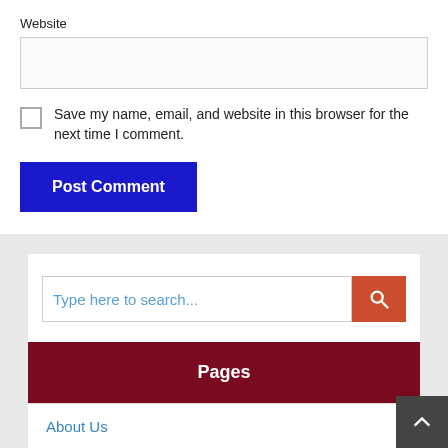Website
Save my name, email, and website in this browser for the next time I comment.
Post Comment
Type here to search...
Pages
About Us
Contact Us